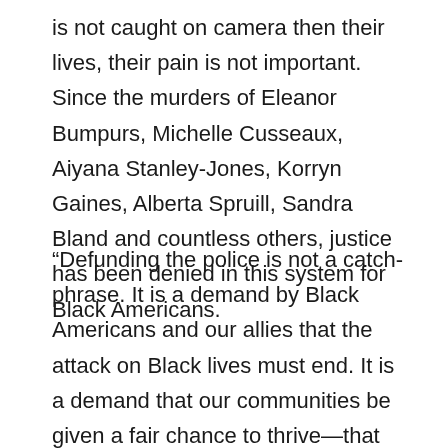is not caught on camera then their lives, their pain is not important. Since the murders of Eleanor Bumpurs, Michelle Cusseaux, Aiyana Stanley-Jones, Korryn Gaines, Alberta Spruill, Sandra Bland and countless others, justice has been denied in this system for Black Americans.
“Defunding the police is not a catch-phrase. It is a demand by Black Americans and our allies that the attack on Black lives must end. It is a demand that our communities be given a fair chance to thrive—that you put back the money stolen from our education system and divest from the police. It is a demand to give